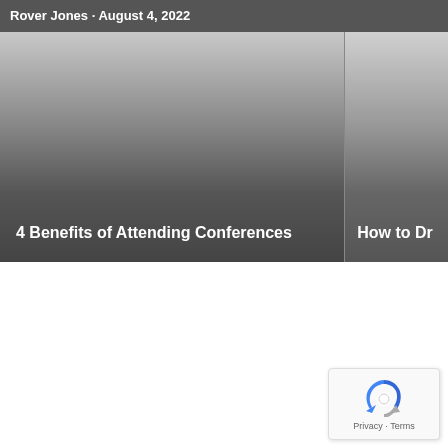Rover Jones · August 4, 2022
[Figure (screenshot): Two article card thumbnails side by side with dark gradient overlays. Left card: '4 Benefits of Attending Conferences'. Right card (partially visible): 'How to Dr...']
4 Benefits of Attending Conferences
How to Dr
[Figure (other): reCAPTCHA widget showing the circular arrow logo with 'Privacy · Terms' text below]